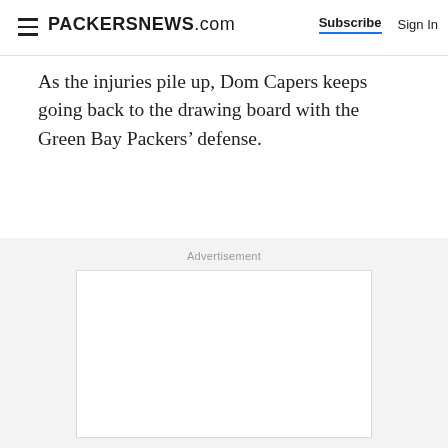PACKERSNEWS.com | Subscribe | Sign In
As the injuries pile up, Dom Capers keeps going back to the drawing board with the Green Bay Packers’ defense.
Advertisement
[Figure (other): Empty advertisement placeholder box with light gray background]